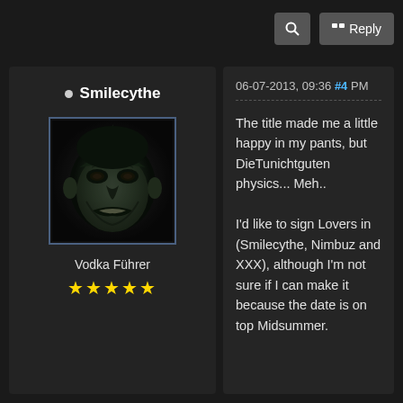[Figure (screenshot): Top bar with search icon button and Reply button on dark background]
Smilecythe
[Figure (photo): Dark fantasy creature face avatar image with blue border]
Vodka Führer
★★★★★
06-07-2013, 09:36 #4 PM
The title made me a little happy in my pants, but DieTunichtguten physics... Meh..

I'd like to sign Lovers in (Smilecythe, Nimbuz and XXX), although I'm not sure if I can make it because the date is on top Midsummer.